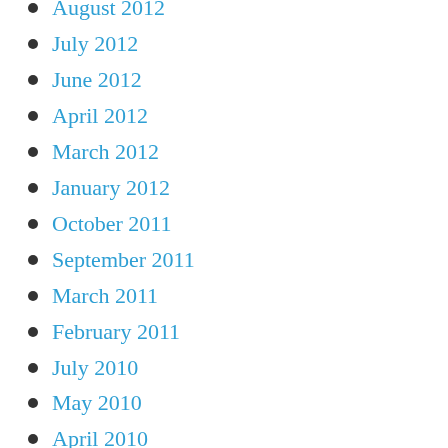August 2012
July 2012
June 2012
April 2012
March 2012
January 2012
October 2011
September 2011
March 2011
February 2011
July 2010
May 2010
April 2010
March 2010
February 2010
November 2009
July 2009